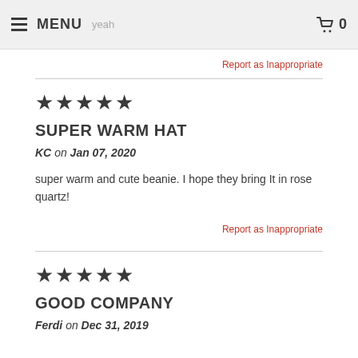MENU | 0
Report as Inappropriate
[Figure (other): 5 filled stars rating]
SUPER WARM HAT
KC on Jan 07, 2020
super warm and cute beanie. I hope they bring It in rose quartz!
Report as Inappropriate
[Figure (other): 4 filled stars rating]
GOOD COMPANY
Ferdi on Dec 31, 2019